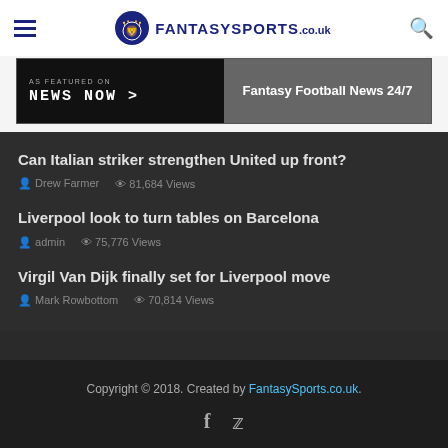FantasySports.co.uk
[Figure (other): News Now banner - AS FEATURED ON NEWS NOW > | Fantasy Football News 24/7]
Can Italian striker strengthen United up front?
Drew Farmer  81,684 Views
Liverpool look to turn tables on Barcelona
admin  75,776 Views
Virgil Van Dijk finally set for Liverpool move
Mark Rowbottom  70,814 Views
Copyright © 2018. Created by FantasySports.co.uk.